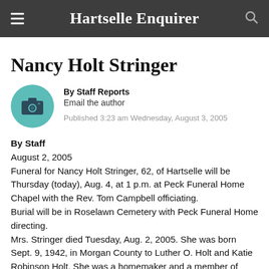Hartselle Enquirer
Nancy Holt Stringer
By Staff Reports
Email the author
Published 3:23 am Wednesday, August 3, 2005
By Staff
August 2, 2005
Funeral for Nancy Holt Stringer, 62, of Hartselle will be Thursday (today), Aug. 4, at 1 p.m. at Peck Funeral Home Chapel with the Rev. Tom Campbell officiating.
Burial will be in Roselawn Cemetery with Peck Funeral Home directing.
Mrs. Stringer died Tuesday, Aug. 2, 2005. She was born Sept. 9, 1942, in Morgan County to Luther O. Holt and Katie Robinson Holt. She was a homemaker and a member of Shady Grove Baptist Church. She was a member of the Decatur Women's Bowling League for more than 30 years. She was a loving wife,